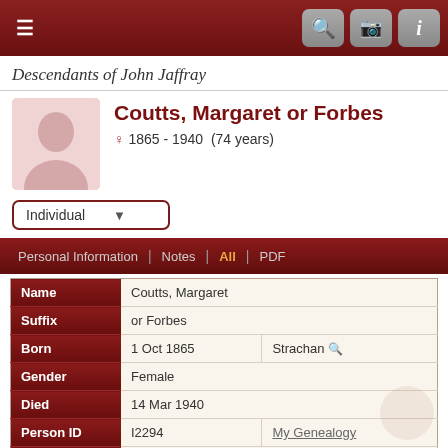Descendants of John Jaffray
Coutts, Margaret or Forbes
♀ 1865 - 1940 (74 years)
| Field | Value | Extra |
| --- | --- | --- |
| Name | Coutts, Margaret |  |
| Suffix | or Forbes |  |
| Born | 1 Oct 1865 | Strachan |
| Gender | Female |  |
| Died | 14 Mar 1940 |  |
| Person ID | I2294 | My Genealogy |
| Last Modified | 12 Sep 2004 |  |